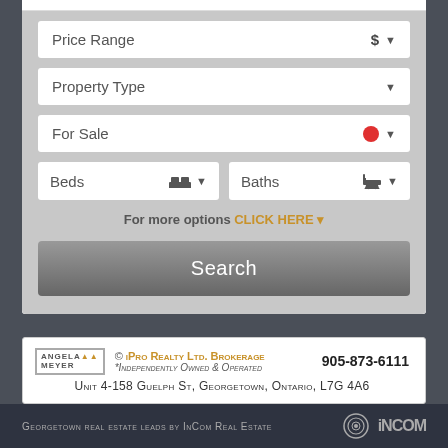[Figure (screenshot): Real estate property search form with dropdowns for Price Range, Property Type, For Sale, Beds, Baths, and a Search button]
For more options CLICK HERE
[Figure (logo): Angela Meyer / iPro Realty Ltd. Brokerage logo with phone number 905-873-6111 and address Unit 4-158 Guelph St, Georgetown, Ontario, L7G 4A6]
Georgetown real estate leads by InCom Real Estate